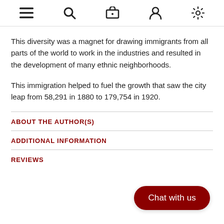Navigation bar with menu, search, cart, account, and settings icons
This diversity was a magnet for drawing immigrants from all parts of the world to work in the industries and resulted in the development of many ethnic neighborhoods.
This immigration helped to fuel the growth that saw the city leap from 58,291 in 1880 to 179,754 in 1920.
ABOUT THE AUTHOR(S)
ADDITIONAL INFORMATION
REVIEWS